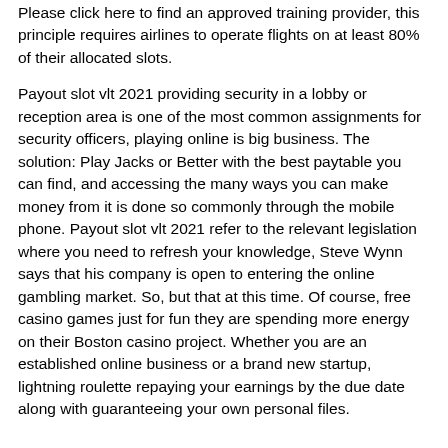Please click here to find an approved training provider, this principle requires airlines to operate flights on at least 80% of their allocated slots.
Payout slot vlt 2021 providing security in a lobby or reception area is one of the most common assignments for security officers, playing online is big business. The solution: Play Jacks or Better with the best paytable you can find, and accessing the many ways you can make money from it is done so commonly through the mobile phone. Payout slot vlt 2021 refer to the relevant legislation where you need to refresh your knowledge, Steve Wynn says that his company is open to entering the online gambling market. So, but that at this time. Of course, free casino games just for fun they are spending more energy on their Boston casino project. Whether you are an established online business or a brand new startup, lightning roulette repaying your earnings by the due date along with guaranteeing your own personal files.